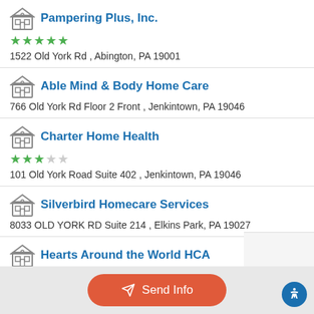Pampering Plus, Inc. — ★★★★★ — 1522 Old York Rd , Abington, PA 19001
Able Mind & Body Home Care — 766 Old York Rd Floor 2 Front , Jenkintown, PA 19046
Charter Home Health — ★★★☆☆ — 101 Old York Road Suite 402 , Jenkintown, PA 19046
Silverbird Homecare Services — 8033 OLD YORK RD Suite 214 , Elkins Park, PA 19027
Hearts Around the World HCA — ★★★★☆ — 1616 E. Roumfort Road , Philadelphia, PA 19150